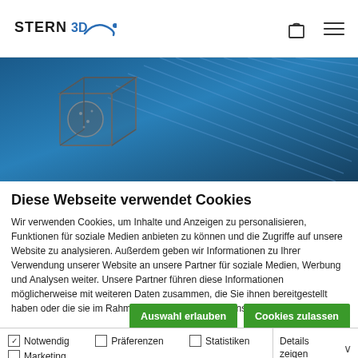[Figure (logo): STERN3D logo with stylized 3D lettering and curved line]
[Figure (photo): Blue gradient hero banner with diagonal stripe lines and a 3D printed cube object on the left side]
Diese Webseite verwendet Cookies
Wir verwenden Cookies, um Inhalte und Anzeigen zu personalisieren, Funktionen für soziale Medien anbieten zu können und die Zugriffe auf unsere Website zu analysieren. Außerdem geben wir Informationen zu Ihrer Verwendung unserer Website an unsere Partner für soziale Medien, Werbung und Analysen weiter. Unsere Partner führen diese Informationen möglicherweise mit weiteren Daten zusammen, die Sie ihnen bereitgestellt haben oder die sie im Rahmen Ihrer Nutzung der Dienste gesammelt haben.
Auswahl erlauben | Cookies zulassen
Notwendig  Präferenzen  Statistiken  Marketing  Details zeigen